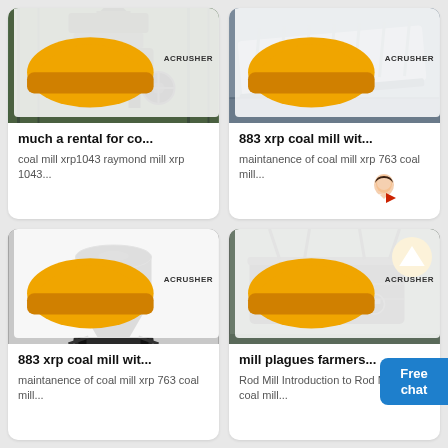[Figure (photo): Industrial coal mill/crusher machine in factory setting with ACRUSHER badge]
much a rental for co...
coal mill xrp1043 raymond mill xrp 1043...
[Figure (photo): Metal conveyor/shaker tray equipment in factory with ACRUSHER badge]
883 xrp coal mill wit...
maintanence of coal mill xrp 763 coal mill...
[Figure (photo): Cone crusher machine black and red with ACRUSHER badge]
883 xrp coal mill wit...
maintanence of coal mill xrp 763 coal mill...
[Figure (photo): Vibrating screen/shaker industrial equipment with ACRUSHER badge]
mill plagues farmers...
Rod Mill Introduction to Rod Mill Ba coal mill...